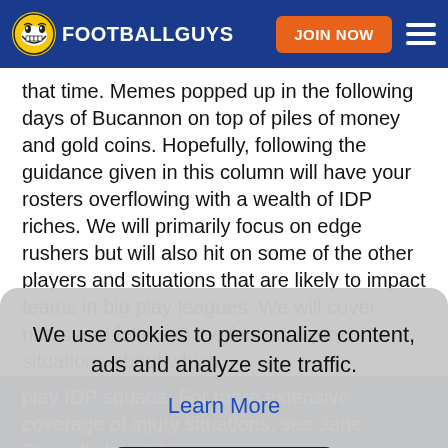FOOTBALLGUYS | JOIN NOW
that time. Memes popped up in the following days of Bucannon on top of piles of money and gold coins. Hopefully, following the guidance given in this column will have your rosters overflowing with a wealth of IDP riches. We will primarily focus on edge rushers but will also hit on some of the other players and situations that are likely to impact teams in big play leagues. We will cover risers and fallers in the format, injury situations about which
We use cookies to personalize content, ads and analyze site traffic.
Learn More
OKAY
play IDP squads. For more extensive coverage of injury situations, see Jane Bramel's latest Injury